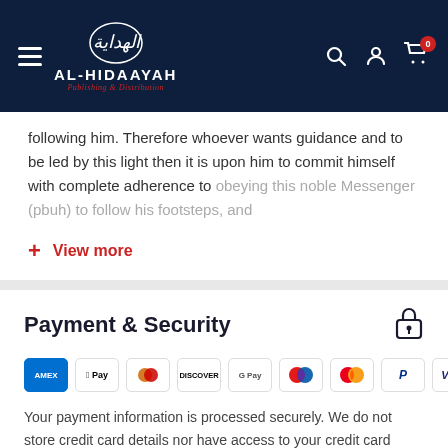AL-HIDAAYAH Publishing & Distribution
following him. Therefore whoever wants guidance and to be led by this light then it is upon him to commit himself with complete adherence to obeying this noble Messenger (pbuh) to follow his footsteps, and
+ View more
Payment & Security
[Figure (other): Payment method icons: Amex, Apple Pay, Diners Club, Discover, Google Pay, Maestro, Mastercard, PayPal, Visa]
Your payment information is processed securely. We do not store credit card details nor have access to your credit card information